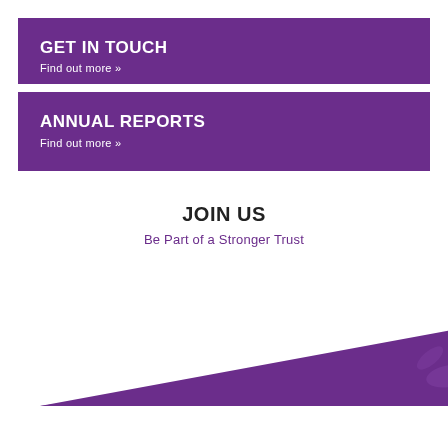GET IN TOUCH
Find out more »
ANNUAL REPORTS
Find out more »
JOIN US
Be Part of a Stronger Trust
[Figure (illustration): Purple triangular/angular shape with a leaf/plant motif pattern, partially visible, pointing to the right, on white background]